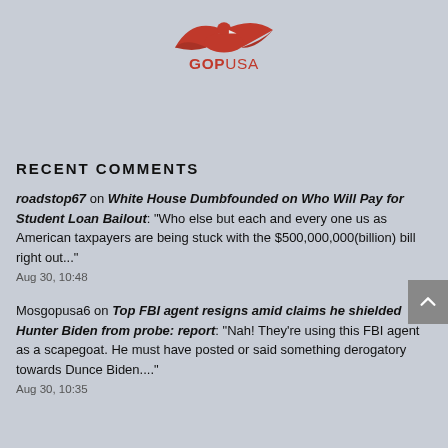[Figure (logo): GOPUSA logo with red eagle/arrow graphic above bold 'GOPUSA' text in red]
RECENT COMMENTS
roadstop67 on White House Dumbfounded on Who Will Pay for Student Loan Bailout: "Who else but each and every one us as American taxpayers are being stuck with the $500,000,000(billion) bill right out..." Aug 30, 10:48
Mosgopusa6 on Top FBI agent resigns amid claims he shielded Hunter Biden from probe: report: "Nah! They're using this FBI agent as a scapegoat. He must have posted or said something derogatory towards Dunce Biden...." Aug 30, 10:35